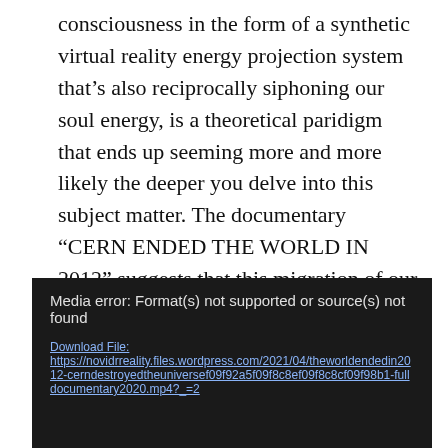consciousness in the form of a synthetic virtual reality energy projection system that's also reciprocally siphoning our soul energy, is a theoretical paridigm that ends up seeming more and more likely the deeper you delve into this subject matter. The documentary “CERN ENDED THE WORLD IN 2012” suggests that this migration of our souls took place in 2012 and that the “Mandela Effect” is one of the proofs of this.
[Figure (screenshot): Dark media player error box showing: 'Media error: Format(s) not supported or source(s) not found' with a download link to a WordPress-hosted mp4 file.]